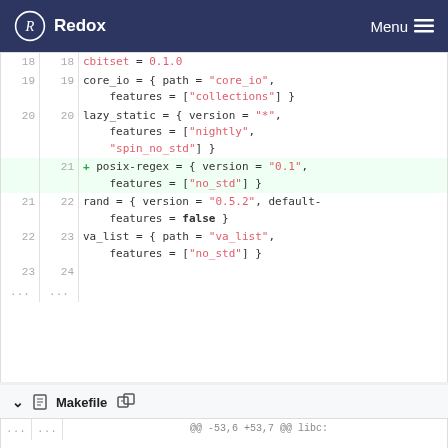Redox   Menu
[Figure (screenshot): Code diff view showing Cargo.toml file changes. Lines 18-24 shown with line numbers. Added line 21: posix-regex = { version = "0.1", features = ["no_std"] }]
Makefile
[Figure (screenshot): Makefile diff context showing @@ -53,6 +53,7 @@ libc: $(BUILD)/release/libc.a $(BUILD)/release/crt0.o $(BUILD)/release/crti.o $(]